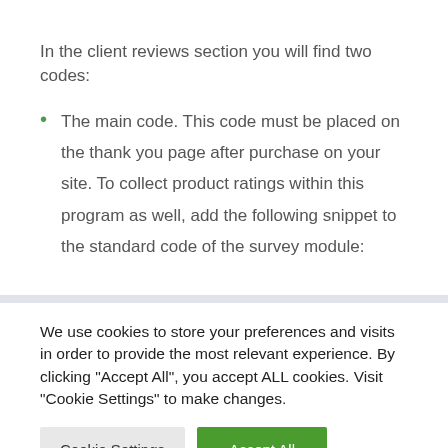In the client reviews section you will find two codes:
The main code. This code must be placed on the thank you page after purchase on your site. To collect product ratings within this program as well, add the following snippet to the standard code of the survey module:
We use cookies to store your preferences and visits in order to provide the most relevant experience. By clicking "Accept All", you accept ALL cookies. Visit "Cookie Settings" to make changes.